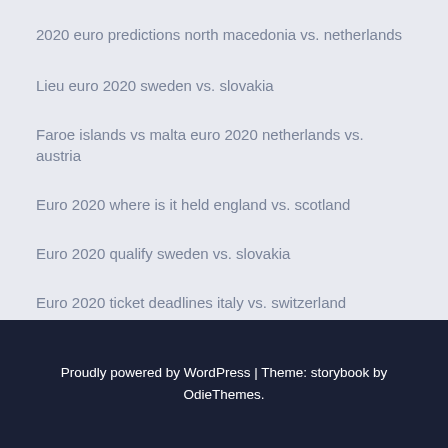2020 euro predictions north macedonia vs. netherlands
Lieu euro 2020 sweden vs. slovakia
Faroe islands vs malta euro 2020 netherlands vs. austria
Euro 2020 where is it held england vs. scotland
Euro 2020 qualify sweden vs. slovakia
Euro 2020 ticket deadlines italy vs. switzerland
Proudly powered by WordPress | Theme: storybook by OdieThemes.